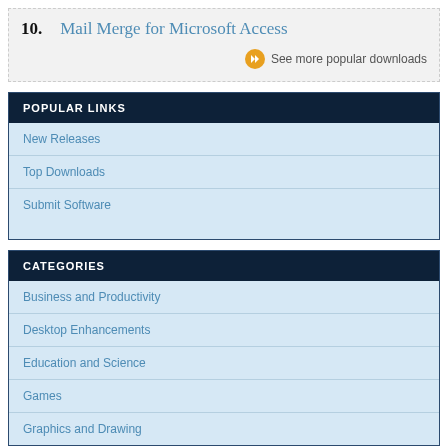10. Mail Merge for Microsoft Access
See more popular downloads
POPULAR LINKS
New Releases
Top Downloads
Submit Software
CATEGORIES
Business and Productivity
Desktop Enhancements
Education and Science
Games
Graphics and Drawing